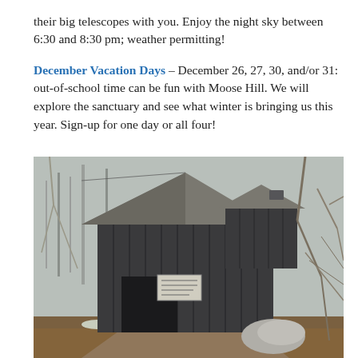their big telescopes with you. Enjoy the night sky between 6:30 and 8:30 pm; weather permitting!
December Vacation Days – December 26, 27, 30, and/or 31: out-of-school time can be fun with Moose Hill. We will explore the sanctuary and see what winter is bringing us this year. Sign-up for one day or all four!
[Figure (photo): Photograph of a rustic dark wooden barn or small building with a pitched roof, surrounded by bare winter trees with no leaves. Snow patches visible on the ground. A sign is visible on the building. Gravel path in the foreground with dead leaves and a large rock to the right.]